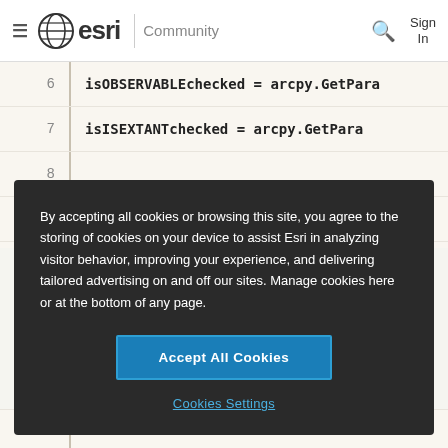esri Community | Sign In
[Figure (screenshot): Code editor showing line 6 with 'isOBSERVABLEchecked = arcpy.GetPara' and line 7 with 'isISEXTANTchecked = arcpy.GetPara', with empty lines 8 and 9]
By accepting all cookies or browsing this site, you agree to the storing of cookies on your device to assist Esri in analyzing visitor behavior, improving your experience, and delivering tailored advertising on and off our sites. Manage cookies here or at the bottom of any page.
Accept All Cookies
Cookies Settings
[Figure (screenshot): Partial code line 23 showing 'if isther']